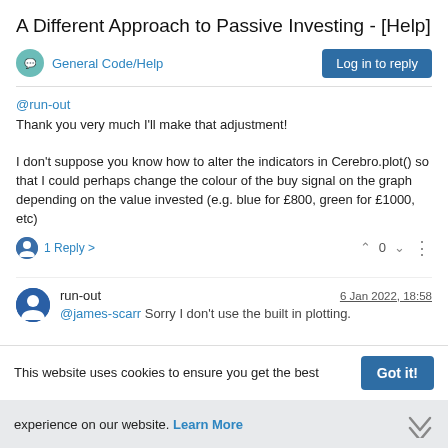A Different Approach to Passive Investing - [Help]
General Code/Help
@run-out
Thank you very much I'll make that adjustment!

I don't suppose you know how to alter the indicators in Cerebro.plot() so that I could perhaps change the colour of the buy signal on the graph depending on the value invested (e.g. blue for £800, green for £1000, etc)
1 Reply >  0
run-out
6 Jan 2022, 18:58
@james-scarr Sorry I don't use the built in plotting.
This website uses cookies to ensure you get the best experience on our website. Learn More